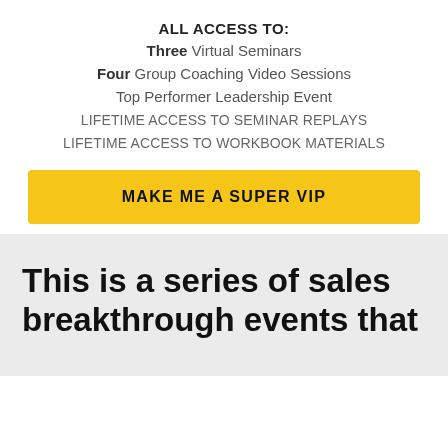ALL ACCESS TO:
Three Virtual Seminars
Four Group Coaching Video Sessions
Top Performer Leadership Event
LIFETIME ACCESS TO SEMINAR REPLAYS
LIFETIME ACCESS TO WORKBOOK MATERIALS
MAKE ME A SUPER VIP
This is a series of sales breakthrough events that